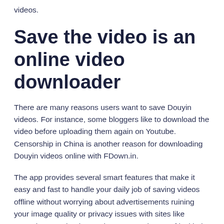videos.
Save the video is an online video downloader
There are many reasons users want to save Douyin videos. For instance, some bloggers like to download the video before uploading them again on Youtube. Censorship in China is another reason for downloading Douyin videos online with FDown.in.
The app provides several smart features that make it easy and fast to handle your daily job of saving videos offline without worrying about advertisements ruining your image quality or privacy issues with sites like YouTube, Facebook or Twitter. FDown is one of its kind that offers various ways